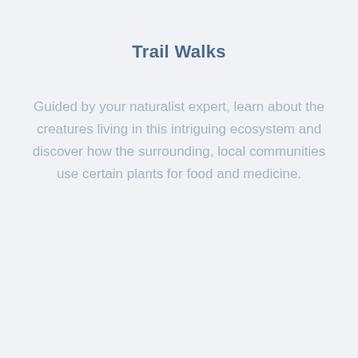Trail Walks
Guided by your naturalist expert, learn about the creatures living in this intriguing ecosystem and discover how the surrounding, local communities use certain plants for food and medicine.